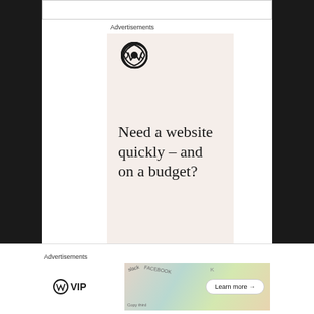[Figure (screenshot): Top white content box strip]
Advertisements
[Figure (illustration): WordPress advertisement banner with logo, text 'Need a website quickly – and on a budget?', and subtext 'Let us build it for you']
Advertisements
[Figure (illustration): WordPress VIP advertisement banner with logo, colorful background showing social media brand names, and 'Learn more →' button]